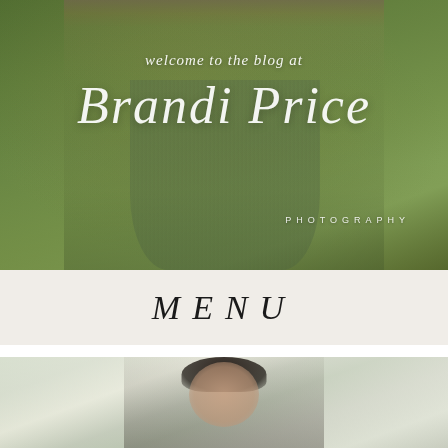[Figure (photo): Portrait photo of a woman in a green/sage pleated maxi dress standing on a dirt path with green foliage in the background. She is holding/crossing her arms across her chest. Overlaid with the blog welcome text and Brandi Price Photography logo in white script.]
welcome to the blog at
Brandi Price
PHOTOGRAPHY
MENU
[Figure (photo): Portrait photo of a young woman with long dark hair, resting her chin/hand, looking at the camera. Background is blurred with green trees and architectural elements.]